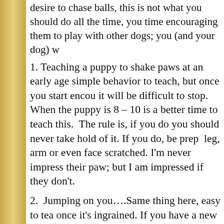desire to chase balls, this is not what you should do all the time, you time encouraging them to play with other dogs; you (and your dog) w
1. Teaching a puppy to shake paws at an early age simple behavior to teach, but once you start encou it will be difficult to stop. When the puppy is 8 – 10 is a better time to teach this. The rule is, if you do you should never take hold of it. If you do, be prep leg, arm or even face scratched. I'm never impress their paw; but I am impressed if they don't.
2. Jumping on you….Same thing here, easy to tea once it's ingrained. If you have a new puppy, teac attention, or turn them sideways or face them awa picking them up. As they get older, you can teach t jump, and who or what they can jump on.
3. Giving your dog food from the dinner table, or c